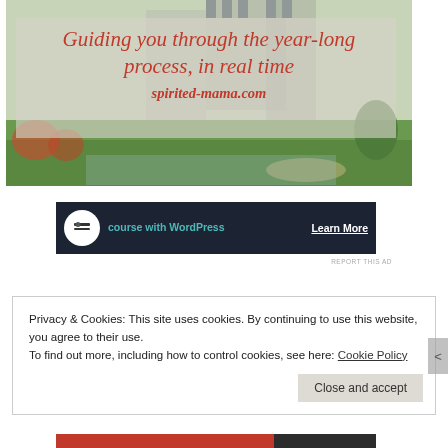[Figure (photo): Banner image showing a castle/manor with green lawn and gardens. Overlaid text reads 'Guiding you through the year-long process, in real time' and 'spirited-mama.com' in italic red font.]
[Figure (screenshot): Dark advertisement bar for a WordPress course with teal text 'course with WordPress', a circular icon, and 'Learn More' white link text on dark background.]
REPORT THIS AD
Privacy & Cookies: This site uses cookies. By continuing to use this website, you agree to their use.
To find out more, including how to control cookies, see here: Cookie Policy
Close and accept